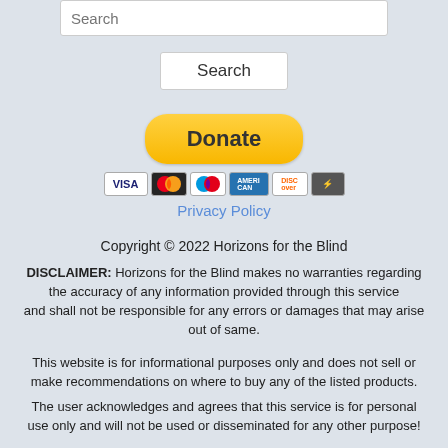Search
[Figure (screenshot): Search button UI element]
[Figure (infographic): PayPal Donate button with payment card icons (Visa, Mastercard, Maestro, Amex, Discover, and another card)]
Privacy Policy
Copyright © 2022 Horizons for the Blind
DISCLAIMER: Horizons for the Blind makes no warranties regarding the accuracy of any information provided through this service and shall not be responsible for any errors or damages that may arise out of same.
This website is for informational purposes only and does not sell or make recommendations on where to buy any of the listed products.
The user acknowledges and agrees that this service is for personal use only and will not be used or disseminated for any other purpose!